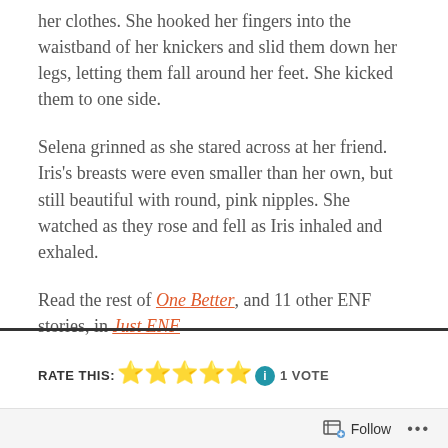her clothes. She hooked her fingers into the waistband of her knickers and slid them down her legs, letting them fall around her feet. She kicked them to one side.
Selena grinned as she stared across at her friend. Iris's breasts were even smaller than her own, but still beautiful with round, pink nipples. She watched as they rose and fell as Iris inhaled and exhaled.
Read the rest of One Better, and 11 other ENF stories, in Just ENF
RATE THIS: ★★★★★ ℹ 1 VOTE
Follow ...